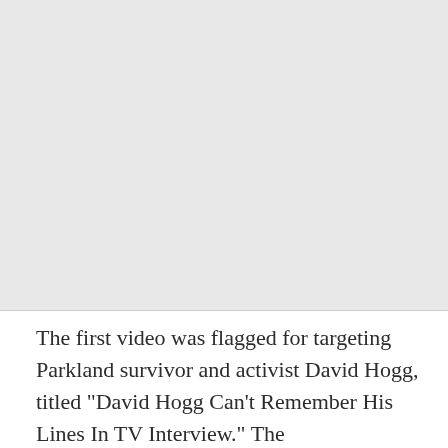[Figure (photo): Large gray placeholder image area occupying the top portion of the page]
The first video was flagged for targeting Parkland survivor and activist David Hogg, titled "David Hogg Can't Remember His Lines In TV Interview." The